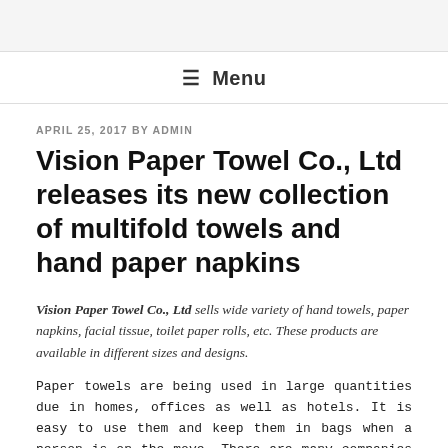≡ Menu
APRIL 25, 2017 BY ADMIN
Vision Paper Towel Co., Ltd releases its new collection of multifold towels and hand paper napkins
Vision Paper Towel Co., Ltd sells wide variety of hand towels, paper napkins, facial tissue, toilet paper rolls, etc. These products are available in different sizes and designs.
Paper towels are being used in large quantities due in homes, offices as well as hotels. It is easy to use them and keep them in bags when a person is on the move. There are many companies that have started selling these